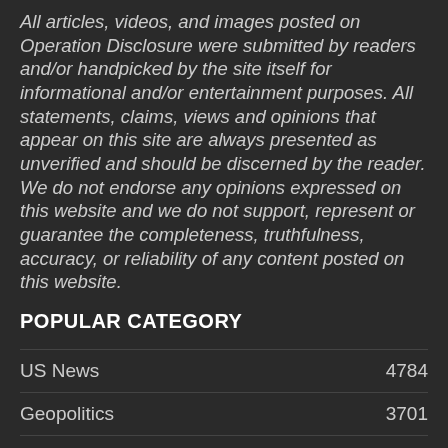All articles, videos, and images posted on Operation Disclosure were submitted by readers and/or handpicked by the site itself for informational and/or entertainment purposes. All statements, claims, views and opinions that appear on this site are always presented as unverified and should be discerned by the reader. We do not endorse any opinions expressed on this website and we do not support, represent or guarantee the completeness, truthfulness, accuracy, or reliability of any content posted on this website.
POPULAR CATEGORY
| Category | Count |
| --- | --- |
| US News | 4784 |
| Geopolitics | 3701 |
| Health | 3453 |